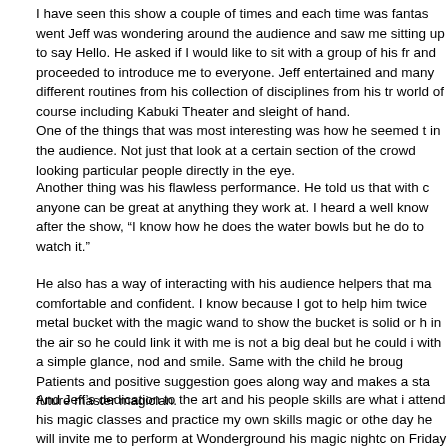I have seen this show a couple of times and each time was fantas went Jeff was wondering around the audience and saw me sitting up to say Hello. He asked if I would like to sit with a group of his fr and proceeded to introduce me to everyone. Jeff entertained and many different routines from his collection of disciplines from his tr world of course including Kabuki Theater and sleight of hand. One of the things that was most interesting was how he seemed t in the audience. Not just that look at a certain section of the crowd looking particular people directly in the eye.
Another thing was his flawless performance. He told us that with c anyone can be great at anything they work at. I heard a well know after the show, “I know how he does the water bowls but he do to watch it.”
He also has a way of interacting with his audience helpers that ma comfortable and confident. I know because I got to help him twice metal bucket with the magic wand to show the bucket is solid or h in the air so he could link it with me is not a big deal but he could i with a simple glance, nod and smile. Same with the child he broug Patients and positive suggestion goes along way and makes a sta future master magician.
And Jeff’s dedication to the art and his people skills are what i attend his magic classes and practice my own skills magic or othe day he will invite me to perform at Wonderground his magic nightc on Friday and Saturday nights. It is amazing the group of magician the ones I have heard have been there. There is techno dance m